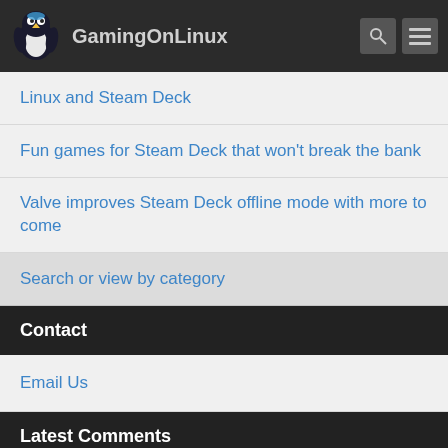GamingOnLinux
Linux and Steam Deck
Fun games for Steam Deck that won't break the bank
Valve improves Steam Deck offline mode with more to come
Search or view by category
Contact
Email Us
Latest Comments
Humble Store has a big Summer Sale live, lots on offer ...
18 minutes ago - ahoneybun